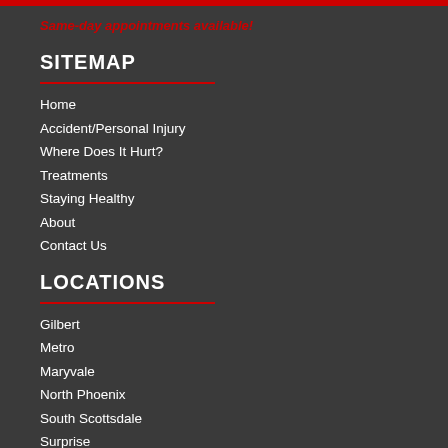Same-day appointments available!
SITEMAP
Home
Accident/Personal Injury
Where Does It Hurt?
Treatments
Staying Healthy
About
Contact Us
LOCATIONS
Gilbert
Metro
Maryvale
North Phoenix
South Scottsdale
Surprise